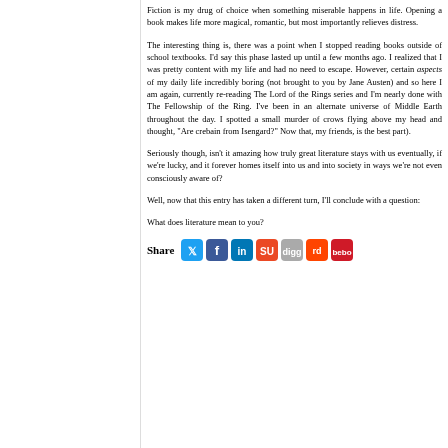Fiction is my drug of choice when something miserable happens in life. Opening a book makes life more magical, romantic, but most importantly relieves distress.
The interesting thing is, there was a point when I stopped reading books outside of school textbooks. I'd say this phase lasted up until a few months ago. I realized that I was pretty content with my life and had no need to escape. However, certain aspects of my daily life incredibly boring (not brought to you by Jane Austen) and so here I am again, currently re-reading The Lord of the Rings series and I'm nearly done with The Fellowship of the Ring. I've been in an alternate universe of Middle Earth throughout the day. I spotted a small murder of crows flying above my head and thought, "Are crebain from Isengard?" Now that, my friends, is the best part).
Seriously though, isn't it amazing how truly great literature stays with us eventually, if we're lucky, and it forever homes itself into us and into society in ways we're not even consciously aware of?
Well, now that this entry has taken a different turn, I'll conclude with a question:
What does literature mean to you?
[Figure (infographic): Share bar with social media icons: Twitter, Facebook, LinkedIn, StumbleUpon, Digg, Reddit, Bebo]